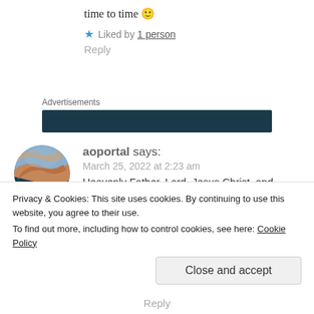time to time 🙂
★ Liked by 1 person
Reply
Advertisements
[Figure (other): Dark teal advertisement banner bar]
aoportal says:
March 25, 2022 at 2:23 am
Heavenly Father, Lord, Jesus Christ, and
Privacy & Cookies: This site uses cookies. By continuing to use this website, you agree to their use.
To find out more, including how to control cookies, see here: Cookie Policy
Close and accept
Reply